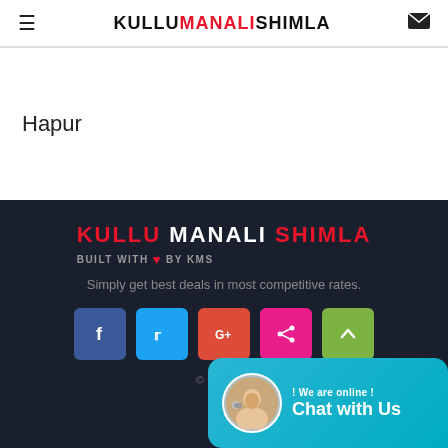KULLU MANALI SHIMLA
Hapur
[Figure (logo): KULLU MANALI SHIMLA footer logo with BUILT WITH heart BY KMS tagline]
Simply get best deals in most competitive rates.
[Figure (infographic): Social media buttons: Facebook, Twitter, Google+, Share, Scroll-up]
© KMS 202...
[Figure (infographic): Chat widget: ! We are online ! Chat with Us]